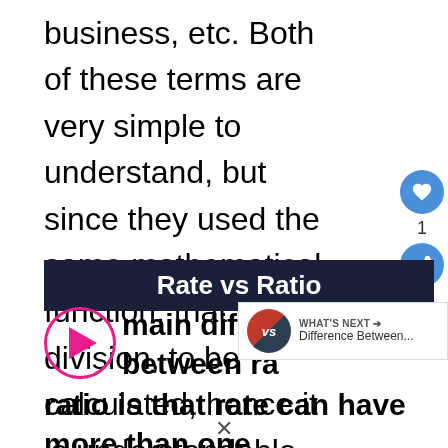business, etc. Both of these terms are very simple to understand, but since they used the same mathematical function, that is division, to be calculated, hence it is understandable that there might be some confusion between these two terms.
Rate vs Ratio
main difference between ra... ratio is that rate can have more than one
[Figure (other): What's Next panel showing a VS circle icon with red/dark halves and text 'Difference Between...']